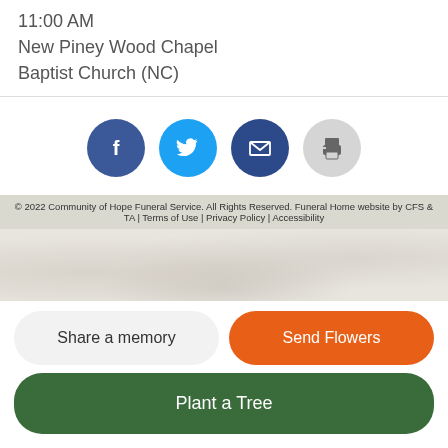11:00 AM
New Piney Wood Chapel
Baptist Church (NC)
[Figure (infographic): Four circular social sharing buttons: Facebook (dark blue), Twitter (light blue), Email (dark blue), Print (light gray)]
© 2022 Community of Hope Funeral Service. All Rights Reserved. Funeral Home website by CFS & TA | Terms of Use | Privacy Policy | Accessibility
Share a memory
Send Flowers
Plant a Tree